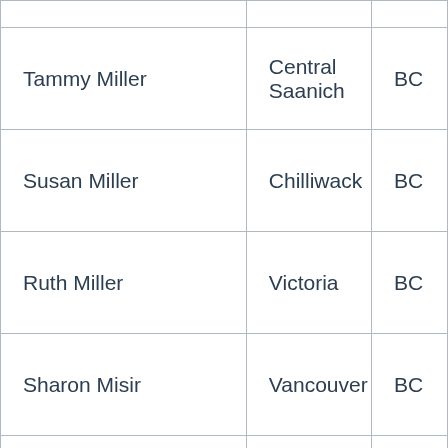|  |  |  |
| Tammy Miller | Central Saanich | BC |
| Susan Miller | Chilliwack | BC |
| Ruth Miller | Victoria | BC |
| Sharon Misir | Vancouver | BC |
| Donna Mitchell | Victoria | BC |
| Laura (Lorena) Mocko | Fernie | BC |